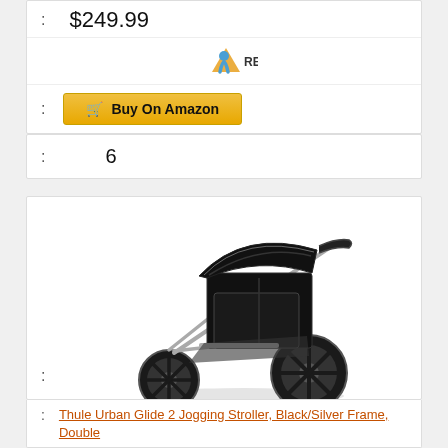: $249.99
[Figure (logo): REI co-op logo with blue and orange triangle icon]
: Buy On Amazon
: 6
[Figure (photo): Thule Urban Glide 2 double jogging stroller in black with silver frame, three large black wheels, shown from a 3/4 angle]
: Thule Urban Glide 2 Jogging Stroller, Black/Silver Frame, Double